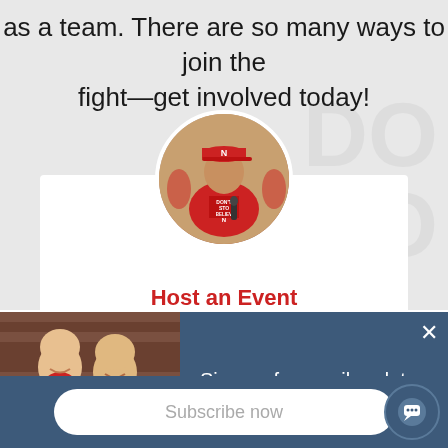as a team. There are so many ways to join the fight—get involved today!
[Figure (photo): Circular profile photo of a man wearing a red Nebraska cap and red shirt that reads 'DON'T STOP BELIEVIN' N', holding a microphone. Background shows brick and other attendees.]
Host an Event
[Figure (photo): Small thumbnail of two young children wearing red shirts, smiling, in front of a brick background.]
Sign up for email updates
Subscribe now